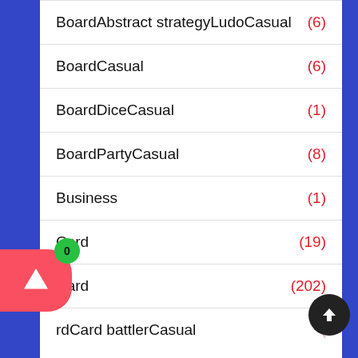BoardAbstract strategyLudoCasual  (6)
BoardCasual  (6)
BoardDiceCasual  (1)
BoardPartyCasual  (8)
Business  (1)
Card  (19)
Card  (202)
rdCard battlerCasual  (...)
CardCasual  (8)